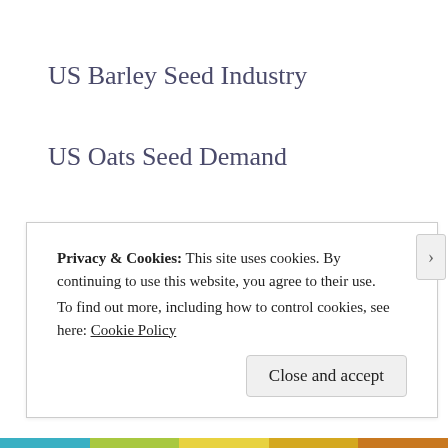US Barley Seed Industry
US Oats Seed Demand
US Fruits and Vegetable Seed Consumption
Seed Treatment in US
Privacy & Cookies: This site uses cookies. By continuing to use this website, you agree to their use.
To find out more, including how to control cookies, see here: Cookie Policy
Close and accept